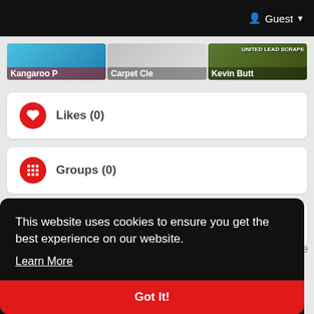Guest
[Figure (screenshot): Three thumbnail images: Kangaroo P, Carpet Cle, Kevin Butt / United Lead Scrape]
Likes (0)
Groups (0)
Products for sale
This website uses cookies to ensure you get the best experience on our website.
Learn More
Got It!